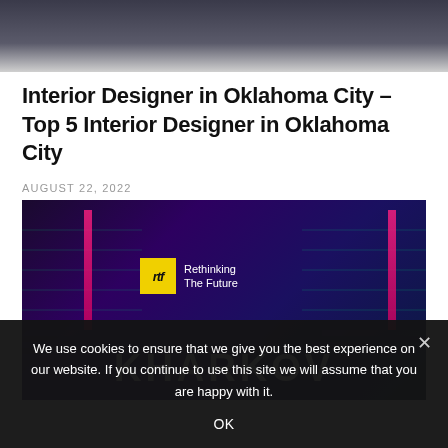[Figure (photo): Top portion of an interior or architectural image, dark tones with gray gradient]
Interior Designer in Oklahoma City – Top 5 Interior Designer in Oklahoma City
AUGUST 22, 2022
[Figure (photo): Dark purple architectural/interior image with pink vertical bars, green shelf lines, RTF 'Rethinking The Future' logo badge in yellow, and large white text 'KHARKOV' at the bottom]
We use cookies to ensure that we give you the best experience on our website. If you continue to use this site we will assume that you are happy with it.

OK